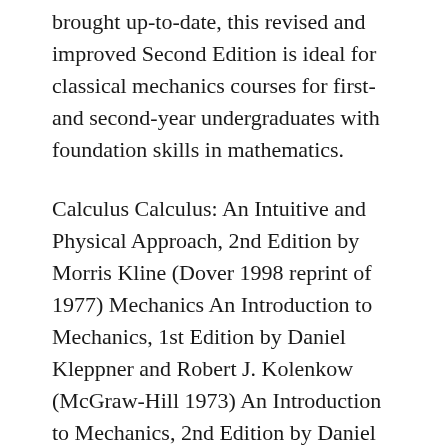brought up-to-date, this revised and improved Second Edition is ideal for classical mechanics courses for first- and second-year undergraduates with foundation skills in mathematics.
Calculus Calculus: An Intuitive and Physical Approach, 2nd Edition by Morris Kline (Dover 1998 reprint of 1977) Mechanics An Introduction to Mechanics, 1st Edition by Daniel Kleppner and Robert J. Kolenkow (McGraw-Hill 1973) An Introduction to Mechanics, 2nd Edition by Daniel Kleppner and Robert J. Kolenkow (Cambridge 2014) Our brand boasts of a successful career as sellers, researchers and purveyors of ace academic material for over a decade. StudyDeed is one of the very few genuine and effective